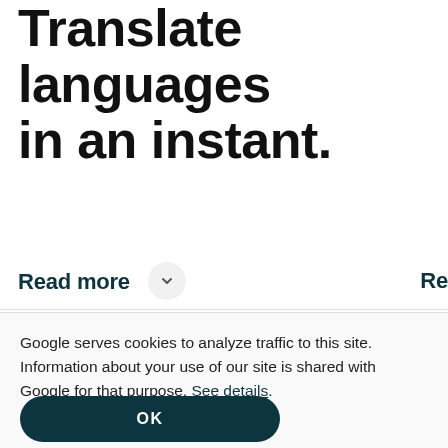Translate languages in an instant.
Read more
Google serves cookies to analyze traffic to this site. Information about your use of our site is shared with Google for that purpose. See details.
OK